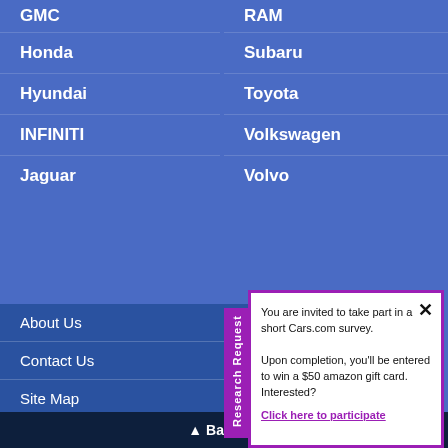GMC
RAM
Honda
Subaru
Hyundai
Toyota
INFINITI
Volkswagen
Jaguar
Volvo
About Us
Contact Us
Site Map
Research Request
You are invited to take part in a short Cars.com survey.

Upon completion, you'll be entered to win a $50 amazon gift card. Interested?
Click here to participate
▲ Back t...